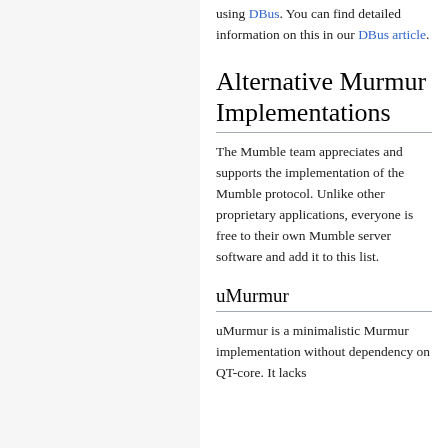using DBus. You can find detailed information on this in our DBus article.
Alternative Murmur Implementations
The Mumble team appreciates and supports the implementation of the Mumble protocol. Unlike other proprietary applications, everyone is free to their own Mumble server software and add it to this list.
uMurmur
uMurmur is a minimalistic Murmur implementation without dependency on QT-core. It lacks